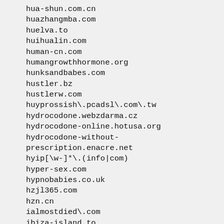hua-shun.com.cn
huazhangmba.com
huelva.to
huihualin.com
human-cn.com
humangrowthhormone.org
hunksandbabes.com
hustler.bz
hustlerw.com
huyprossish\.pcadsl\.com\.tw
hydrocodone.webzdarma.cz
hydrocodone-online.hotusa.org
hydrocodone-without-prescription.enacre.net
hyip[\w-]*\.(info|com)
hyper-sex.com
hypnobabies.co.uk
hzjl365.com
hzn.cn
ialmostdied\.com
ibiza-island.to
i-black-jack.com
i-butalbital-fioricet.com
i-buy-mortgage.com
icpcn\.com